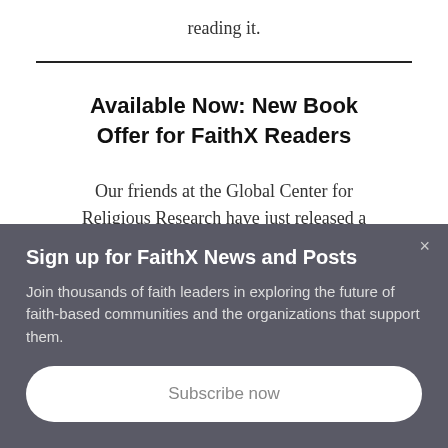reading it.
Available Now: New Book Offer for FaithX Readers
Our friends at the Global Center for Religious Research have just released a new book by
Sign up for FaithX News and Posts
Join thousands of faith leaders in exploring the future of faith-based communities and the organizations that support them.
Subscribe now